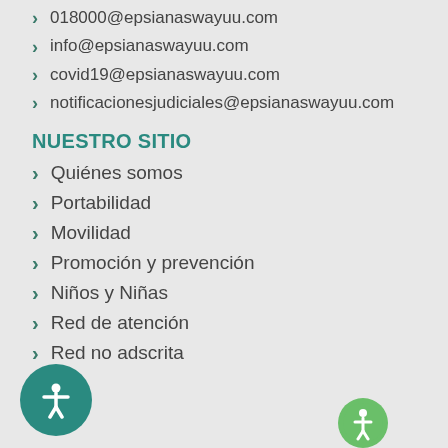018000@epsianaswayuu.com
info@epsianaswayuu.com
covid19@epsianaswayuu.com
notificacionesjudiciales@epsianaswayuu.com
NUESTRO SITIO
Quiénes somos
Portabilidad
Movilidad
Promoción y prevención
Niños y Niñas
Red de atención
Red no adscrita